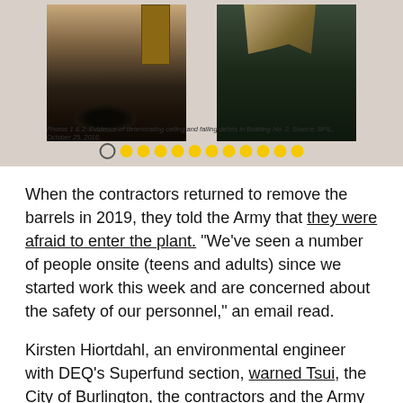[Figure (photo): Two photographs side by side showing deteriorating conditions in Building No. 2: left photo shows burned/damaged floor and open door; right photo shows falling ceiling debris in a hallway.]
Photos 1 & 2. Evidence of deteriorating ceiling and falling debris in Building No. 2. Source: BFIL, October 25, 2016.
When the contractors returned to remove the barrels in 2019, they told the Army that they were afraid to enter the plant. “We’ve seen a number of people onsite (teens and adults) since we started work this week and are concerned about the safety of our personnel,” an email read.
Kirsten Hiortdahl, an environmental engineer with DEQ’s Superfund section, warned Tsui, the City of Burlington, the contractors and the Army that “the lack of security onsite is a safety hazard and a fire hazard; the extent of vandalism is extensive.”